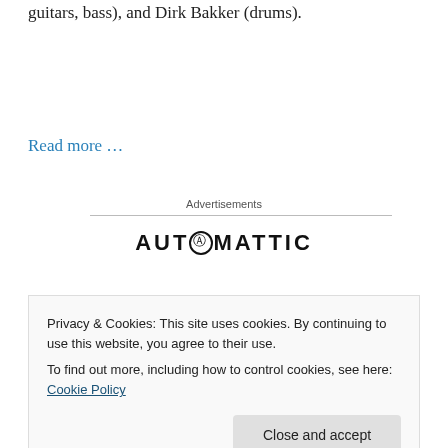guitars, bass), and Dirk Bakker (drums).
Read more …
Advertisements
[Figure (logo): Automattic logo with stylized circular O]
Privacy & Cookies: This site uses cookies. By continuing to use this website, you agree to their use.
To find out more, including how to control cookies, see here: Cookie Policy
Close and accept